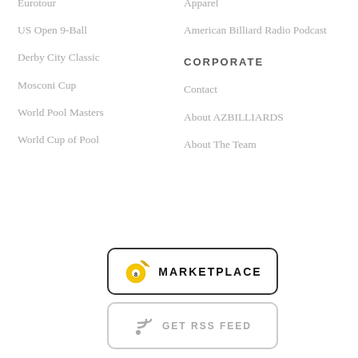Eurotour
US Open 9-Ball
Derby City Classic
Mosconi Cup
World Pool Masters
World Cup of Pool
Apparel
American Billiard Radio Podcast
CORPORATE
Contact
About AZBILLIARDS
About The Team
[Figure (other): MARKETPLACE button with 8-ball icon]
[Figure (other): GET RSS FEED button with RSS icon]